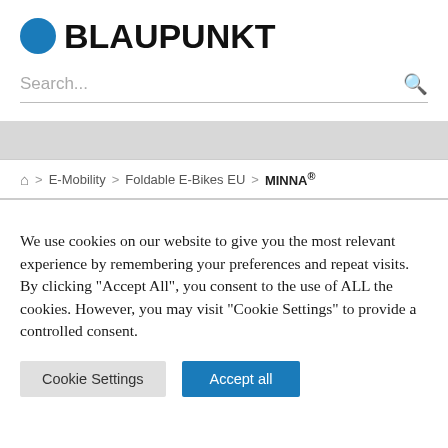BLAUPUNKT
Search...
⌂ > E-Mobility > Foldable E-Bikes EU > MINNA®
We use cookies on our website to give you the most relevant experience by remembering your preferences and repeat visits. By clicking "Accept All", you consent to the use of ALL the cookies. However, you may visit "Cookie Settings" to provide a controlled consent.
Cookie Settings | Accept all